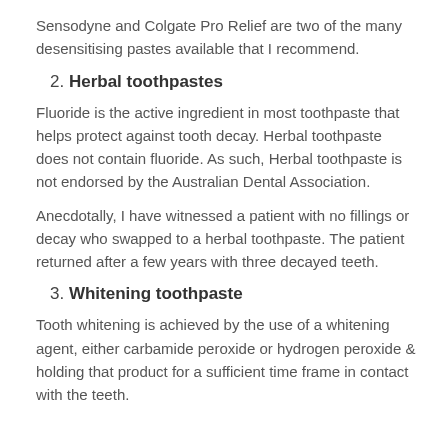Sensodyne and Colgate Pro Relief are two of the many desensitising pastes available that I recommend.
2. Herbal toothpastes
Fluoride is the active ingredient in most toothpaste that helps protect against tooth decay. Herbal toothpaste does not contain fluoride. As such, Herbal toothpaste is not endorsed by the Australian Dental Association.
Anecdotally, I have witnessed a patient with no fillings or decay who swapped to a herbal toothpaste. The patient returned after a few years with three decayed teeth.
3. Whitening toothpaste
Tooth whitening is achieved by the use of a whitening agent, either carbamide peroxide or hydrogen peroxide & holding that product for a sufficient time frame in contact with the teeth.